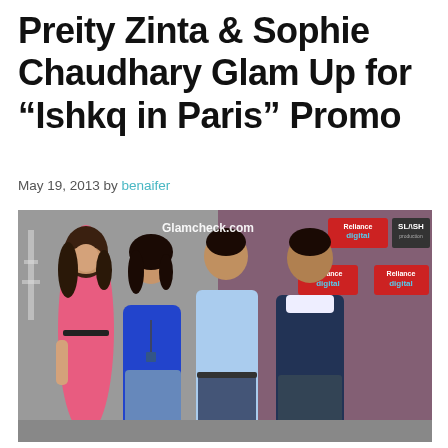Preity Zinta & Sophie Chaudhary Glam Up for “Ishkq in Paris” Promo
May 19, 2013 by benaifer
[Figure (photo): Group photo of four people posing at a promotional event for 'Ishkq in Paris'. Two women on the left — one in a pink dress, one in a blue top — and two men on the right. Background shows Reliance Digital and SLASH production banners. Glamcheck.com watermark visible.]